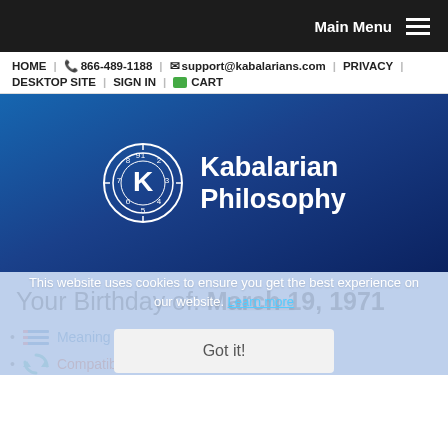Main Menu
HOME | 866-489-1188 | support@kabalarians.com | PRIVACY | DESKTOP SITE | SIGN IN | CART
[Figure (logo): Kabalarian Philosophy logo: circular clock-like emblem with K in center and numbers 1-9, with text 'Kabalarian Philosophy' in white on blue gradient background]
This website uses cookies to ensure you get the best experience on our website. Learn more
Your Birthday of: March 19, 1971
Meaning Your Purpose
Compatibility Relationships